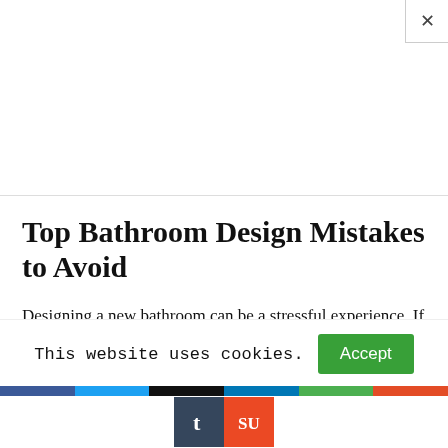Top Bathroom Design Mistakes to Avoid
Designing a new bathroom can be a stressful experience. If you're spending thousands on a refit, then you might feel serious pressure to get it right. You might have heard horror stories about designers who didn't think carefully enough at the planning stage, and found themselves
This website uses cookies.
[Figure (screenshot): Social sharing bar with color strips (blue, light blue, black, blue, green, red) and two social media icon buttons: Tumblr (dark navy) and StumbleUpon (orange-red)]